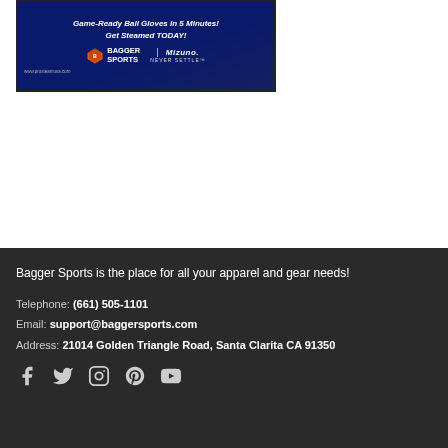[Figure (illustration): Advertisement for Bagger Sports and Mizuno featuring text: Game-Ready Ball Gloves in 5 Minutes! Get Steamed TODAY! with Bagger Sports and Mizuno logos and website URL www.prosteamusa.com]
Bagger Sports is the place for all your apparel and gear needs!
Telephone: (661) 505-1101
Email: support@baggersports.com
Address: 21014 Golden Triangle Road, Santa Clarita CA 91350
[Figure (illustration): Social media icons: Facebook, Twitter, Instagram, Pinterest, YouTube]